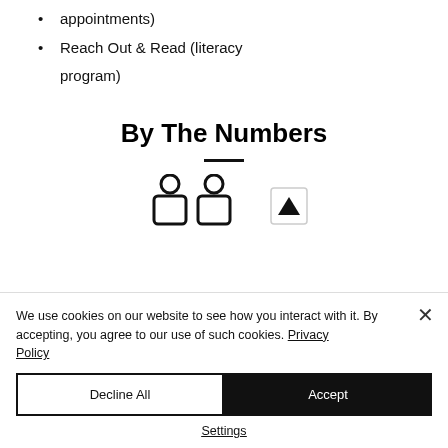appointments)
Reach Out & Read (literacy program)
By The Numbers
[Figure (infographic): Two person icons representing people, with a partial icon visible to the right, below a short horizontal divider line, part of a 'By The Numbers' statistics section.]
We use cookies on our website to see how you interact with it. By accepting, you agree to our use of such cookies. Privacy Policy
Decline All
Accept
Settings